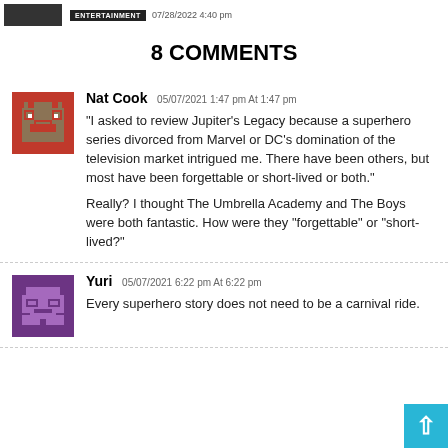ENTERTAINMENT 07/28/2022 4:40 pm
8 COMMENTS
Nat Cook 05/07/2021 1:47 pm At 1:47 pm
“I asked to review Jupiter’s Legacy because a superhero series divorced from Marvel or DC’s domination of the television market intrigued me. There have been others, but most have been forgettable or short-lived or both.”

Really? I thought The Umbrella Academy and The Boys were both fantastic. How were they “forgettable” or “short-lived?”
Yuri 05/07/2021 6:22 pm At 6:22 pm

Every superhero story does not need to be a carnival ride.